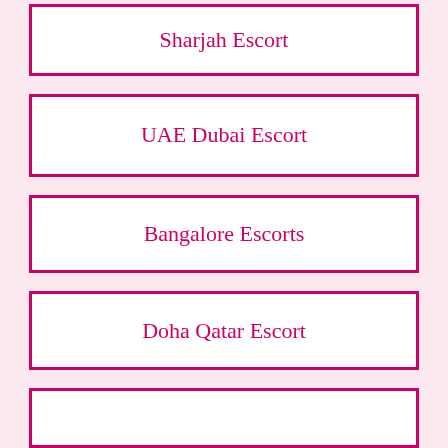Sharjah Escort
UAE Dubai Escort
Bangalore Escorts
Doha Qatar Escort
(partial)